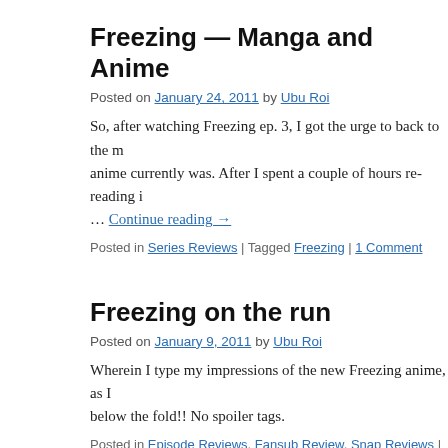Freezing — Manga and Anime
Posted on January 24, 2011 by Ubu Roi
So, after watching Freezing ep. 3, I got the urge to back to the m… anime currently was. After I spent a couple of hours re-reading i… … Continue reading →
Posted in Series Reviews | Tagged Freezing | 1 Comment
Freezing on the run
Posted on January 9, 2011 by Ubu Roi
Wherein I type my impressions of the new Freezing anime, as I … below the fold!! No spoiler tags.
Posted in Episode Reviews, Fansub Review, Snap Reviews | Tagged Freezir…
Manga Update, June 2010